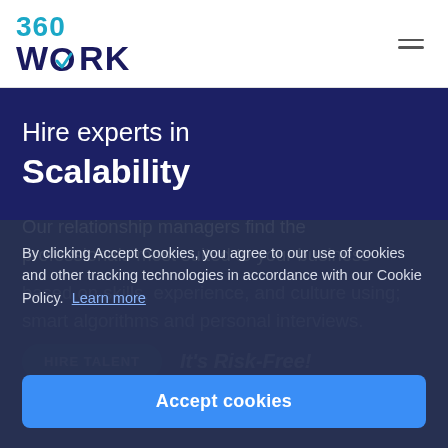[Figure (logo): 360WORK logo with teal 360 text and dark blue WORK text with a checkmark inside the O]
Hire experts in Scalability
Our relationship managers find the professionals most suited to your business based on skills, experience, and culture using smart algorithms and personal interviews.
HIRE TALENT   It's Risk-Free!
Our talents have worked with:
By clicking Accept Cookies, you agree to our use of cookies and other tracking technologies in accordance with our Cookie Policy. Learn more
Accept cookies